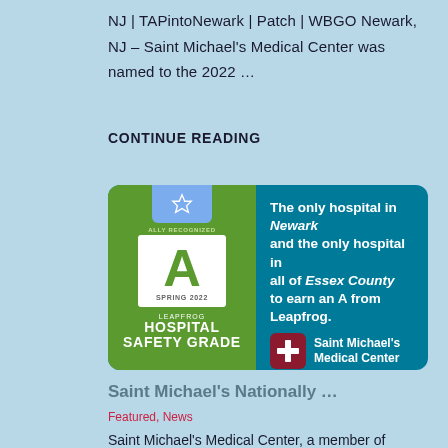NJ | TAPintoNewark | Patch | WBGO Newark, NJ – Saint Michael's Medical Center was named to the 2022 …
CONTINUE READING
[Figure (infographic): Leapfrog Hospital Safety Grade badge showing an 'A' grade for Spring 2022, green background with white box containing the letter A. Right side on dark teal background: 'The only hospital in Newark and the only hospital in all of Essex County to earn an A from Leapfrog.' Saint Michael's Medical Center logo with cross and tagline 'Around the corner. Ahead of the curve.']
Saint Michael's Nationally …
Featured, News
Saint Michael's Medical Center, a member of